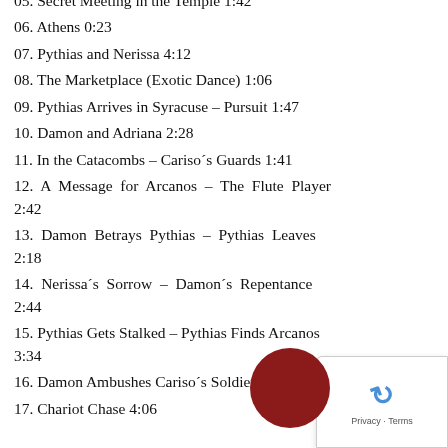05. Secret Meeting in the Temple 1:42
06. Athens 0:23
07. Pythias and Nerissa 4:12
08. The Marketplace (Exotic Dance) 1:06
09. Pythias Arrives in Syracuse – Pursuit 1:47
10. Damon and Adriana 2:28
11. In the Catacombs – Cariso´s Guards 1:41
12. A Message for Arcanos – The Flute Player 2:42
13. Damon Betrays Pythias – Pythias Leaves 2:18
14. Nerissa´s Sorrow – Damon´s Repentance 2:44
15. Pythias Gets Stalked – Pythias Finds Arcanos 3:34
16. Damon Ambushes Cariso´s Soldiers 2:00
17. Chariot Chase 4:06